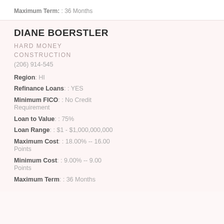Maximum Term: : 36 Months
DIANE BOERSTLER
HARD MONEY
CONSTRUCTION
(206) 914-545
Region: HI
Refinance Loans: : YES
Minimum FICO: : No Credit Requirement
Loan to Value: : 75%
Loan Range: : $1 - $1,000,000,000
Maximum Cost: : 18.00% -- 16.00 Points
Minimum Cost: : 9.00% -- 9.00 Points
Maximum Term: : 36 Months